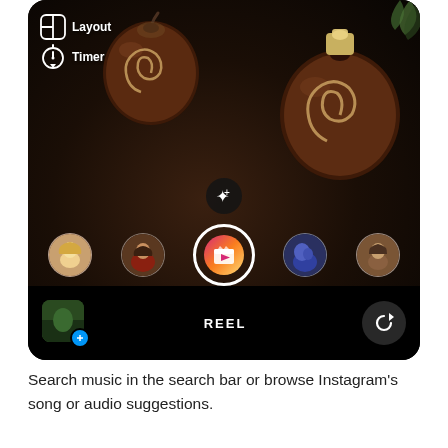[Figure (screenshot): Instagram Reels camera interface showing dark table with decorative apple-shaped candle holders with spiral patterns. UI shows Layout and Timer options on the left, a row of filter/effect avatars at the bottom, a central record button with the Reels icon, and a REEL label at the bottom. A photo thumbnail with plus icon is at the bottom left, and a flip-camera icon at the bottom right.]
Search music in the search bar or browse Instagram's song or audio suggestions.